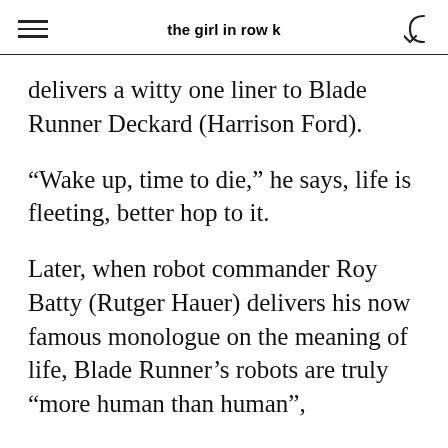the girl in row k
delivers a witty one liner to Blade Runner Deckard (Harrison Ford).
“Wake up, time to die,” he says, life is fleeting, better hop to it.
Later, when robot commander Roy Batty (Rutger Hauer) delivers his now famous monologue on the meaning of life, Blade Runner’s robots are truly “more human than human”,